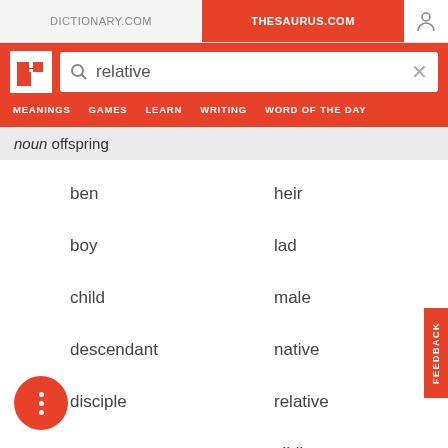DICTIONARY.COM | THESAURUS.COM
[Figure (screenshot): Search bar with 'relative' query on Thesaurus.com]
noun offspring
ben
heir
boy
lad
child
male
descendant
native
disciple
relative
s
sibling